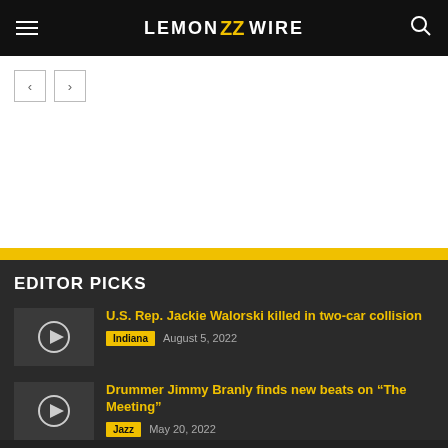LEMON WIRE
[Figure (screenshot): Navigation arrows for carousel, back and forward buttons on white background]
EDITOR PICKS
U.S. Rep. Jackie Walorski killed in two-car collision
Indiana  August 5, 2022
Drummer Jimmy Branly finds new beats on "The Meeting"
Jazz  May 20, 2022